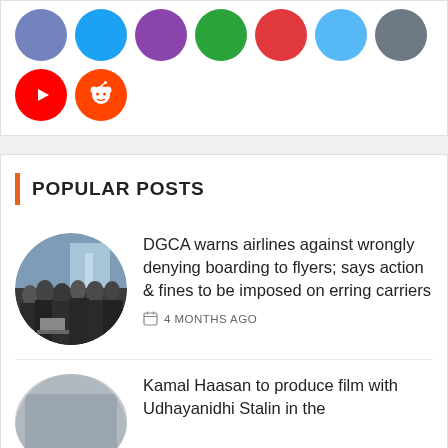[Figure (illustration): Social media icon circles: YouTube (red) and Reddit (orange) visible, with partial view of other colored social icons at top]
POPULAR POSTS
[Figure (photo): Circular thumbnail photo of a crowd of people at what appears to be an airport or transit area, wearing masks]
DGCA warns airlines against wrongly denying boarding to flyers; says action & fines to be imposed on erring carriers
4 MONTHS AGO
Kamal Haasan to produce film with Udhayanidhi Stalin in the